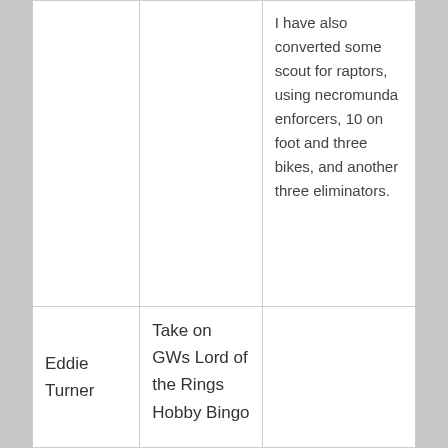|  |  | I have also converted some scout for raptors, using necromunda enforcers, 10 on foot and three bikes, and another three eliminators. |
| Eddie Turner | Take on GWs Lord of the Rings Hobby Bingo |  |